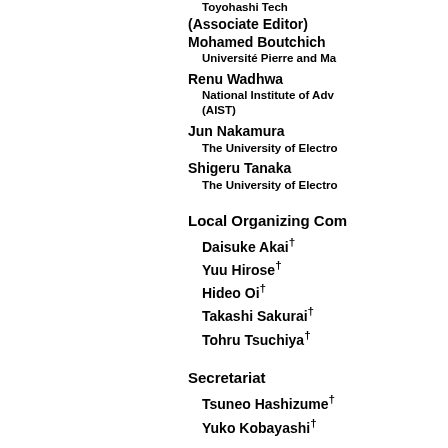Toyohashi Tech
(Associate Editor)
Mohamed Boutchich
Université Pierre and Ma
Renu Wadhwa
National Institute of Adv (AIST)
Jun Nakamura
The University of Electro
Shigeru Tanaka
The University of Electro
Local Organizing Com
Daisuke Akai†
Yuu Hirose†
Hideo Oi†
Takashi Sakurai†
Tohru Tsuchiya†
Secretariat
Tsuneo Hashizume†
Yuko Kobayashi†